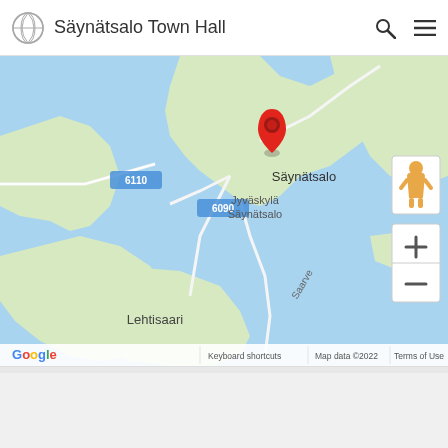Säynätsalo Town Hall
[Figure (map): Google Maps showing Säynätsalo area in Finland, with a red location pin on Säynätsalo, labels for Jyväskylä Säynätsalo, Lehtisaari, road numbers 6110 and 6090, and street Saarve. Map data ©2022.]